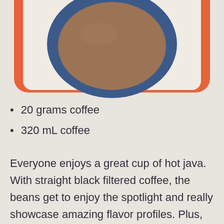[Figure (illustration): Illustration of a coffee cup viewed from above, shown inside a rounded rectangle frame with an orange/coral border. The cup has a dark blue outer ring and brown coffee liquid in the center, set against a cream/beige background.]
20 grams coffee
320 mL coffee
Everyone enjoys a great cup of hot java. With straight black filtered coffee, the beans get to enjoy the spotlight and really showcase amazing flavor profiles. Plus, there are so many unique ways it can be brewed: automatic drip, French Press, pour over